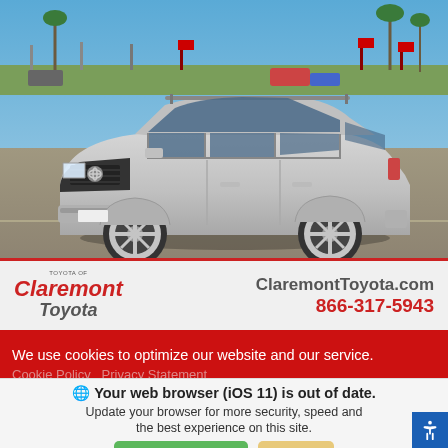[Figure (photo): Silver Toyota RAV4 SUV photographed in a dealership lot with palm trees and Toyota dealership flags visible in the background, clear blue sky.]
ClaremontToyota.com
866-317-5943
We use cookies to optimize our website and our service.
Cookie Policy - Privacy Statement
Your web browser (iOS 11) is out of date. Update your browser for more security, speed and the best experience on this site.
Update browser   Ignore